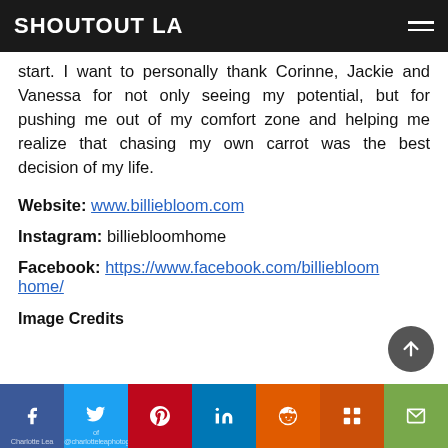SHOUTOUT LA
start. I want to personally thank Corinne, Jackie and Vanessa for not only seeing my potential, but for pushing me out of my comfort zone and helping me realize that chasing my own carrot was the best decision of my life.
Website: www.billiebloom.com
Instagram: billiebloomhome
Facebook: https://www.facebook.com/billiebloomhome/
Image Credits
Charlotte Lea of @charlotteleaphotography